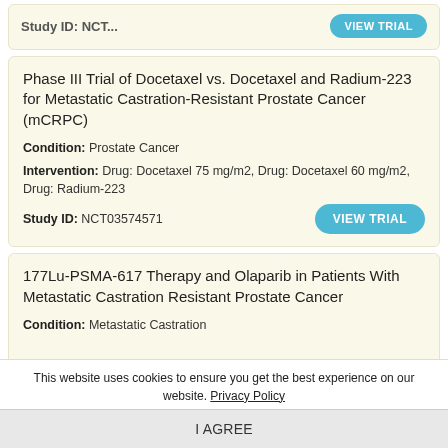Study ID: NCT... [partial card cut off at top] VIEW TRIAL
Phase III Trial of Docetaxel vs. Docetaxel and Radium-223 for Metastatic Castration-Resistant Prostate Cancer (mCRPC)
Condition: Prostate Cancer
Intervention: Drug: Docetaxel 75 mg/m2, Drug: Docetaxel 60 mg/m2, Drug: Radium-223
Study ID: NCT03574571
177Lu-PSMA-617 Therapy and Olaparib in Patients With Metastatic Castration Resistant Prostate Cancer
Condition: Metastatic Castration
This website uses cookies to ensure you get the best experience on our website. Privacy Policy
I AGREE